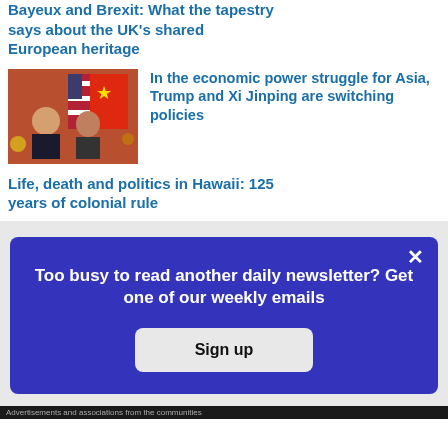Bayeux and Brexit: What the tapestry says about the UK's shared European heritage
[Figure (photo): Photo of two world leaders shaking hands in front of US and Chinese flags]
In the economic power struggle for Asia, Trump and Xi Jinping are switching policies
Life, death and politics in Hawaii: 125 years of colonial rule
Too busy to read another daily newsletter? Get one of our weekly emails
Sign up
Advertisements and associations from the communities